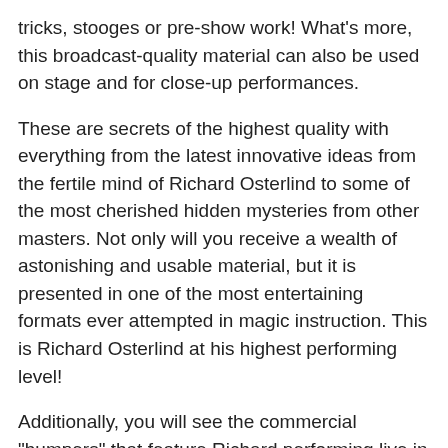tricks, stooges or pre-show work! What's more, this broadcast-quality material can also be used on stage and for close-up performances.
These are secrets of the highest quality with everything from the latest innovative ideas from the fertile mind of Richard Osterlind to some of the most cherished hidden mysteries from other masters. Not only will you receive a wealth of astonishing and usable material, but it is presented in one of the most entertaining formats ever attempted in magic instruction. This is Richard Osterlind at his highest performing level!
Additionally, you will see the commercial "bumpers" that feature Richard performing live in a restaurant and other public places - real-time performing under real-world conditions! See why Richard always shines in the numerous other "bonuses" contained on each disc!